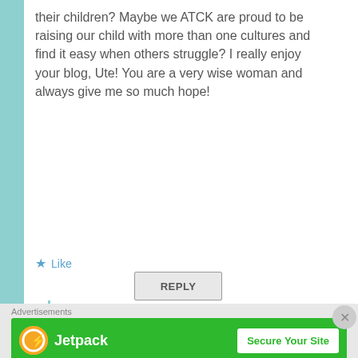their children? Maybe we ATCK are proud to be raising our child with more than one cultures and find it easy when others struggle? I really enjoy your blog, Ute! You are a very wise woman and always give me so much hope!
Like
REPLY
expatsincebirth
July 10, 2013 at 6:41 pm
Dear Olga, this is exactly the point: articles about TCK's are mainly written by FCK's
Advertisements
[Figure (logo): Jetpack logo and Secure Your Site advertisement banner on green background]